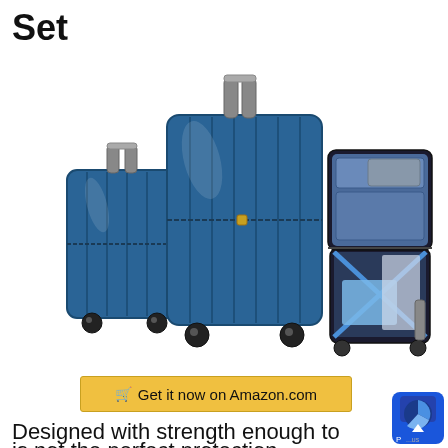Set
[Figure (photo): Two blue hardshell spinner suitcases (one medium, one large) shown closed side by side, plus one open suitcase showing interior packing organization with straps, pockets and clothing]
🛒 Get it now on Amazon.com
Designed with strength enough to handle
is not the perfect protection...